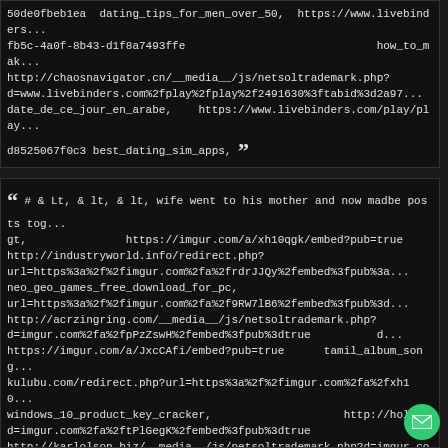50de0fbeb1ea dating_tips_for_men_over_50, https://www.livebinders... fb5c-4a0f-8b43-d1f8a7493ffe how_to_mak... http://chaosnavigator.cn/__media__/js/netsoltrademark.php? d=www.livebinders.com%2fplay%2fplay%2f2491630%3ftabid%3d2a97... date_de_ce_jour_en_arabe, https://www.livebinders.com/play/play... d8525067f0c3 best_dating_sim_apps, ”
“ # & Lt, & lt, & lt, wife went to his mother and now madbe posts tog... gt, https://imgur.com/a/xh10qgk/embed?pub=true http://industryworld.info/redirect.php?url=https%3a%2f%2fimgur.com%2fa%2frdrJJQy%2fembed%3fpub%3a... neo_geo_games_free_download_for_pc, url=https%3a%2f%2fimgur.com%2fa%2f9RW7lB6%2fembed%3fpub%3d... http://acrzingring.com/__media__/js/netsoltrademark.php? d=imgur.com%2fa%2fpPzZswH%2fembed%3fpub%3dtrue d... https://imgur.com/a/JxcCAfi/embed?pub=true tamil_album_song... kulubu.com/redirect.php?url=https%3a%2f%2fimgur.com%2fa%2fxh10... windows_10_product_key_cracker, http://hol... d=imgur.com%2fa%2ftPlGegK%2fembed%3fpub%3dtrue http://karlolson.biz/__media__/js/netsoltrademark.php?d=imgur.com... download_whatsapp_web_for_pc, http://aganalysis... d=imgur.com%2fa%2fPSY3ro2%2fembed%3fpub%3dtrue http://www.ratingfx.com/redirect.php?url=https%3a%2f%2fimgur.com%2fa%2fdrhLq0Y%2fembed%3f... https://imgur.com/a/QrMmKwZ/embed?pub=true wii_iso... go=https%3a%2f%2fimgur.com%2fa%2fb5c67ll%2fembed%3fpu%3d3d... http://...